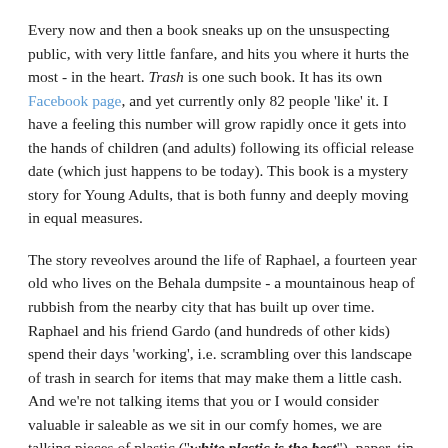Every now and then a book sneaks up on the unsuspecting public, with very little fanfare, and hits you where it hurts the most - in the heart. Trash is one such book. It has its own Facebook page, and yet currently only 82 people 'like' it. I have a feeling this number will grow rapidly once it gets into the hands of children (and adults) following its official release date (which just happens to be today). This book is a mystery story for Young Adults, that is both funny and deeply moving in equal measures.
The story reveolves around the life of Raphael, a fourteen year old who lives on the Behala dumpsite - a mountainous heap of rubbish from the nearby city that has built up over time. Raphael and his friend Gardo (and hundreds of other kids) spend their days 'working', i.e. scrambling over this landscape of trash in search for items that may make them a little cash. And we're not talking items that you or I would consider valuable ir saleable as we sit in our comfy homes, we are talking pieces of plastic ("white plastic is the best"), paper, tin cans, bottles, bits of cloth.... yes, exactly the sort of things we would classify as trash. But to these boys good trash means cash. Of course this also means that half the time they are wading through (and picking up) what they refer to as stuppa, and what we would refer to as (in polite conversation) human muck.